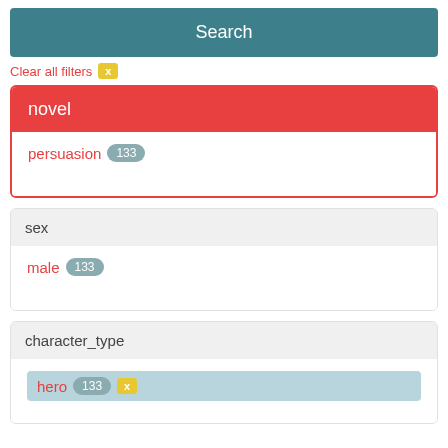Search
Clear all filters x
novel
persuasion 133
sex
male 133
character_type
hero 133 x